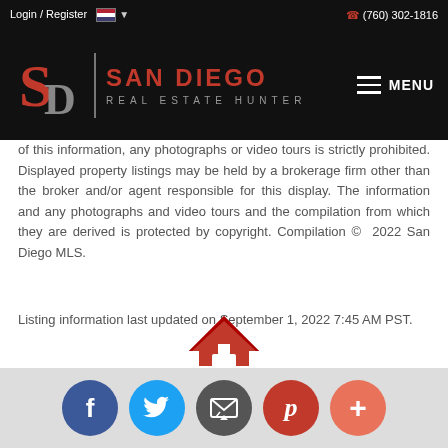Login / Register   (760) 302-1816
[Figure (logo): San Diego Real Estate Hunter logo with SD monogram in red on black background]
of this information, any photographs or video tours is strictly prohibited. Displayed property listings may be held by a brokerage firm other than the broker and/or agent responsible for this display. The information and any photographs and video tours and the compilation from which they are derived is protected by copyright. Compilation © 2022 San Diego MLS.
Listing information last updated on September 1, 2022 7:45 AM PST.
[Figure (logo): San Diego Real Estate Hunter house icon logo in red, partial view at bottom]
[Figure (infographic): Social media share buttons: Facebook, Twitter, Email, Pinterest, More (+)]